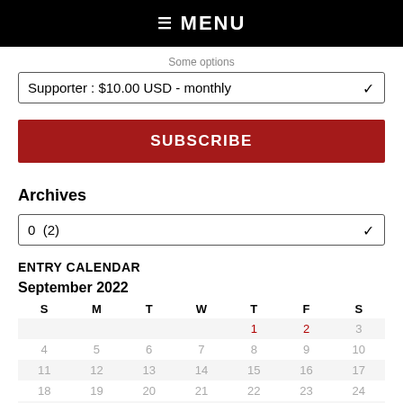☰ MENU
Some options
Supporter : $10.00 USD - monthly
SUBSCRIBE
Archives
0  (2)
ENTRY CALENDAR
September 2022
| S | M | T | W | T | F | S |
| --- | --- | --- | --- | --- | --- | --- |
|  |  |  |  | 1 | 2 | 3 |
| 4 | 5 | 6 | 7 | 8 | 9 | 10 |
| 11 | 12 | 13 | 14 | 15 | 16 | 17 |
| 18 | 19 | 20 | 21 | 22 | 23 | 24 |
| 25 | 26 | 27 | 28 | 29 | 30 |  |
« Aug